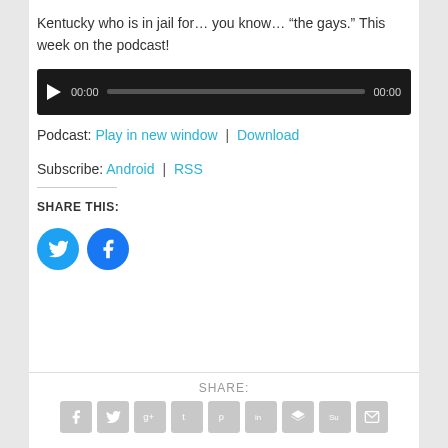Kentucky who is in jail for… you know… “the gays.” This week on the podcast!
[Figure (other): Audio player widget with play button, time display 00:00, progress bar, and end time 00:00 on dark background]
Podcast: Play in new window | Download
Subscribe: Android | RSS
SHARE THIS:
[Figure (other): Twitter and Facebook circular social share icons in blue]
SHARE:
[Figure (other): Row of gray social sharing icon boxes: Facebook, Twitter, Google+, Tumblr, Pinterest, LinkedIn, layers/buffer, StumbleUpon, email]